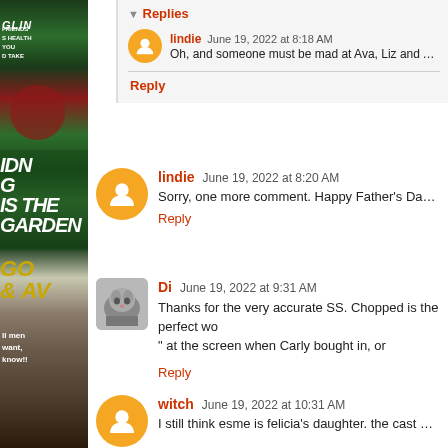▼ Replies
lindie  June 19, 2022 at 8:18 AM
Oh, and someone must be mad at Ava, Liz and Ale…
Reply
lindie  June 19, 2022 at 8:20 AM
Sorry, one more comment. Happy Father's Day to all the Dad…
Reply
Di  June 19, 2022 at 9:31 AM
Thanks for the very accurate SS. Chopped is the perfect wo… " at the screen when Carly bought in, or checking out the ori… be talking to himself in the woods.
Reply
witch  June 19, 2022 at 10:31 AM
I still think esme is felicia's daughter. the cast needs to be tri…